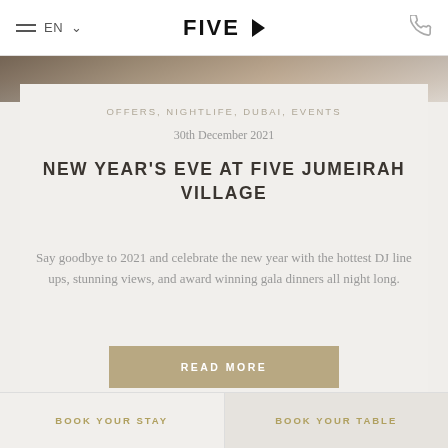FIVE ▶
OFFERS, NIGHTLIFE, DUBAI, EVENTS
30th December 2021
NEW YEAR'S EVE AT FIVE JUMEIRAH VILLAGE
Say goodbye to 2021 and celebrate the new year with the hottest DJ line ups, stunning views, and award winning gala dinners all night long.
READ MORE
BOOK YOUR STAY  BOOK YOUR TABLE